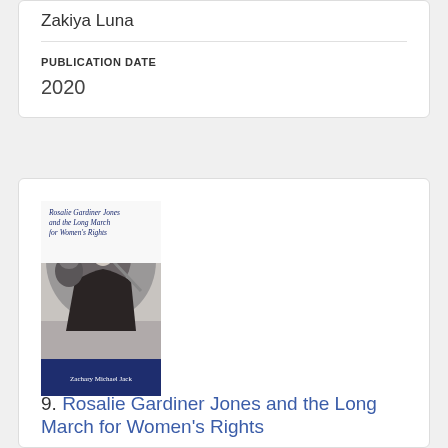Zakiya Luna
PUBLICATION DATE
2020
[Figure (photo): Book cover of 'Rosalie Gardiner Jones and the Long March for Women's Rights' by Zachary Michael Jack, featuring a black and white photograph of a woman in a hat, smiling.]
9. Rosalie Gardiner Jones and the Long March for Women's Rights